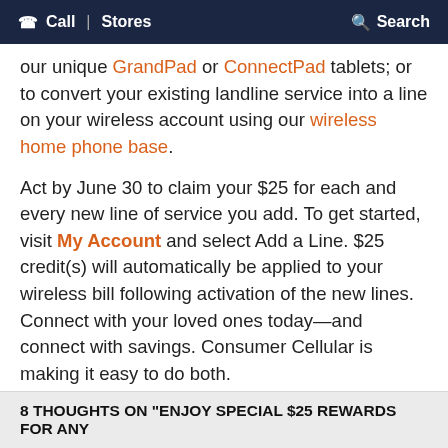Call | Stores   Search
our unique GrandPad or ConnectPad tablets; or to convert your existing landline service into a line on your wireless account using our wireless home phone base.
Act by June 30 to claim your $25 for each and every new line of service you add. To get started, visit My Account and select Add a Line. $25 credit(s) will automatically be applied to your wireless bill following activation of the new lines. Connect with your loved ones today—and connect with savings. Consumer Cellular is making it easy to do both.
◄ Connect with CC ConnectPad, Our Versatile New Wireless Device
Free Directory Assistance Tips ►
[Figure (illustration): Accessibility icon — a circular person with arms outstretched inside a circle, with a small close (X) button overlay]
8 THOUGHTS ON "ENJOY SPECIAL $25 REWARDS FOR ANY